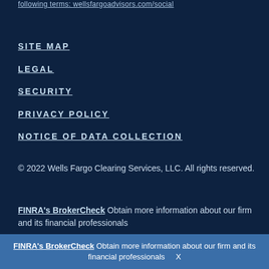following terms: wellsfargoadvisors.com/social
SITE MAP
LEGAL
SECURITY
PRIVACY POLICY
NOTICE OF DATA COLLECTION
© 2022 Wells Fargo Clearing Services, LLC. All rights reserved.
FINRA's BrokerCheck Obtain more information about our firm and its financial professionals
FINRA's BrokerCheck Obtain more information about our firm and its financial professionals   X